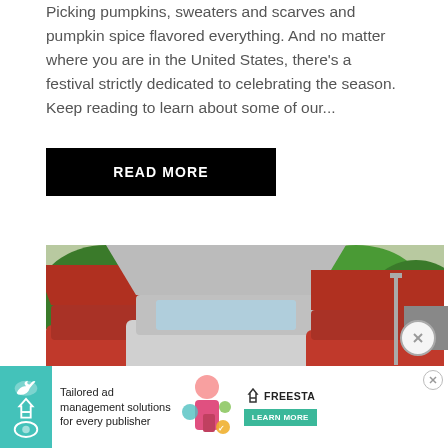Picking pumpkins, sweaters and scarves and pumpkin spice flavored everything. And no matter where you are in the United States, there's a festival strictly dedicated to celebrating the season. Keep reading to learn about some of our...
READ MORE
[Figure (photo): Classic cars parked outdoors with hoods open at a car show, green trees in background, featuring a silver/white vintage truck in the center and red classic cars on sides, parked on grass.]
[Figure (infographic): Advertisement banner at bottom: teal left panel with Freestars logo icon, white center with text 'Tailored ad management solutions for every publisher', decorative illustration of person with tech elements, Freesta logo with teal LEARN MORE button, close X button top right.]